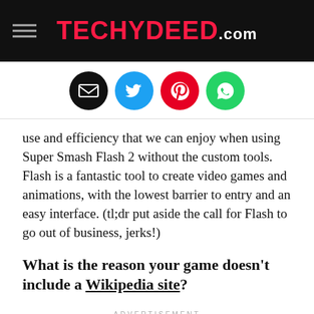TECHYDEED.com
[Figure (infographic): Four social sharing icon buttons: email (black), Twitter (blue), Pinterest (red), WhatsApp (green)]
use and efficiency that we can enjoy when using Super Smash Flash 2 without the custom tools. Flash is a fantastic tool to create video games and animations, with the lowest barrier to entry and an easy interface. (tl;dr put aside the call for Flash to go out of business, jerks!)
What is the reason your game doesn't include a Wikipedia site?
ADVERTISEMENT